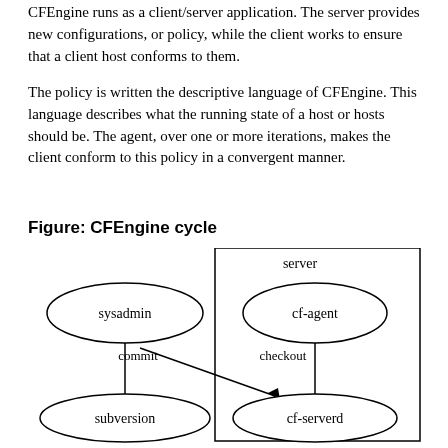CFEngine runs as a client/server application. The server provides new configurations, or policy, while the client works to ensure that a client host conforms to them.
The policy is written the descriptive language of CFEngine. This language describes what the running state of a host or hosts should be. The agent, over one or more iterations, makes the client conform to this policy in a convergent manner.
Figure: CFEngine cycle
[Figure (flowchart): CFEngine cycle diagram showing sysadmin and cf-agent nodes at top, both connecting via commit and checkout arrows to subversion and cf-serverd nodes at bottom. The server box contains cf-agent and cf-serverd. There is a cross-arrow from sysadmin commit to cf-serverd and from cf-agent checkout to subversion.]